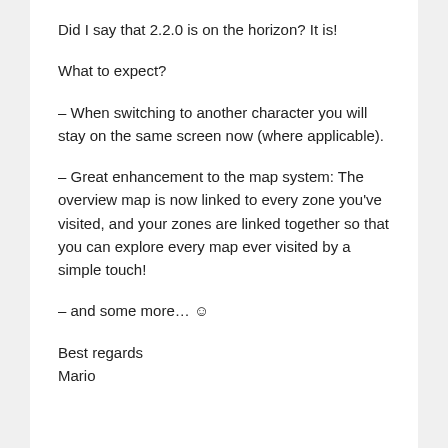Did I say that 2.2.0 is on the horizon? It is!
What to expect?
– When switching to another character you will stay on the same screen now (where applicable).
– Great enhancement to the map system: The overview map is now linked to every zone you've visited, and your zones are linked together so that you can explore every map ever visited by a simple touch!
– and some more… ☺
Best regards
Mario